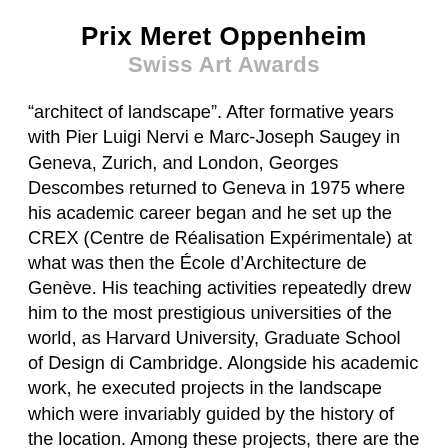Prix Meret Oppenheim
Swiss Art Awards
“architect of landscape”. After formative years with Pier Luigi Nervi e Marc-Joseph Saugey in Geneva, Zurich, and London, Georges Descombes returned to Geneva in 1975 where his academic career began and he set up the CREX (Centre de Réalisation Expérimentale) at what was then the École d’Architecture de Genève. His teaching activities repeatedly drew him to the most prestigious universities of the world, as Harvard University, Graduate School of Design di Cambridge. Alongside his academic work, he executed projects in the landscape which were invariably guided by the history of the location. Among these projects, there are the Parc de Lancy, the Geneva section of the Swiss Path around Lake Lucerne and the Bijlmer Monument in Amsterdam. In 2000, he began